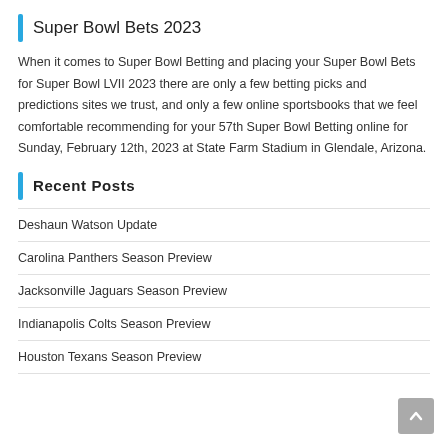Super Bowl Bets 2023
When it comes to Super Bowl Betting and placing your Super Bowl Bets for Super Bowl LVII 2023 there are only a few betting picks and predictions sites we trust, and only a few online sportsbooks that we feel comfortable recommending for your 57th Super Bowl Betting online for Sunday, February 12th, 2023 at State Farm Stadium in Glendale, Arizona.
Recent Posts
Deshaun Watson Update
Carolina Panthers Season Preview
Jacksonville Jaguars Season Preview
Indianapolis Colts Season Preview
Houston Texans Season Preview